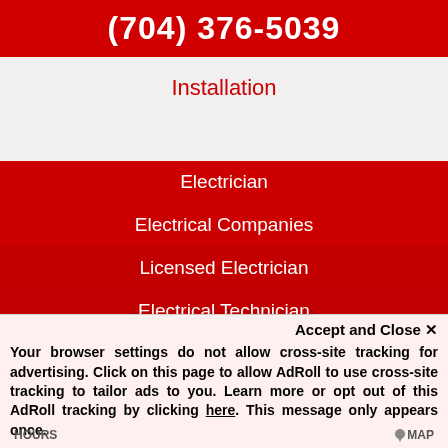(704) 376-5039
Installation
Electrician
Electrical Companies
Licensed Electrician
Electrical Technician
Accept and Close ✕
Your browser settings do not allow cross-site tracking for advertising. Click on this page to allow AdRoll to use cross-site tracking to tailor ads to you. Learn more or opt out of this AdRoll tracking by clicking here. This message only appears once.